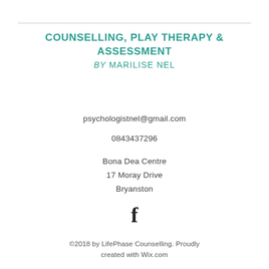COUNSELLING, PLAY THERAPY & ASSESSMENT BY MARILISE NEL
psychologistnel@gmail.com
0843437296
Bona Dea Centre
17 Moray Drive
Bryanston
[Figure (logo): Facebook 'f' logo icon in bold black]
©2018 by LifePhase Counselling. Proudly created with Wix.com